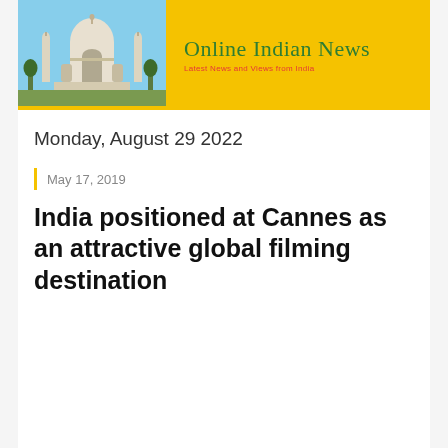[Figure (logo): Online Indian News website header banner with yellow background, Taj Mahal photo on the left, and green text reading 'Online Indian News' with red subtitle 'Latest News and Views from India']
Monday, August 29 2022
May 17, 2019
India positioned at Cannes as an attractive global filming destination